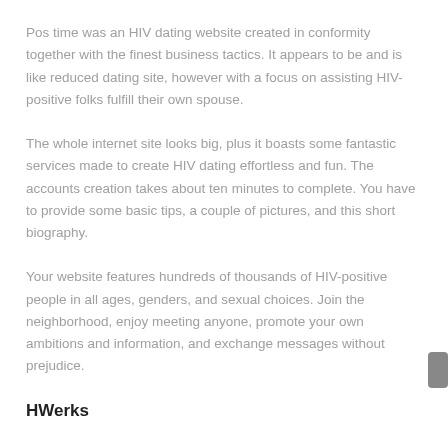Pos time was an HIV dating website created in conformity together with the finest business tactics. It appears to be and is like reduced dating site, however with a focus on assisting HIV-positive folks fulfill their own spouse.
The whole internet site looks big, plus it boasts some fantastic services made to create HIV dating effortless and fun. The accounts creation takes about ten minutes to complete. You have to provide some basic tips, a couple of pictures, and this short biography.
Your website features hundreds of thousands of HIV-positive people in all ages, genders, and sexual choices. Join the neighborhood, enjoy meeting anyone, promote your own ambitions and information, and exchange messages without prejudice.
HWerks